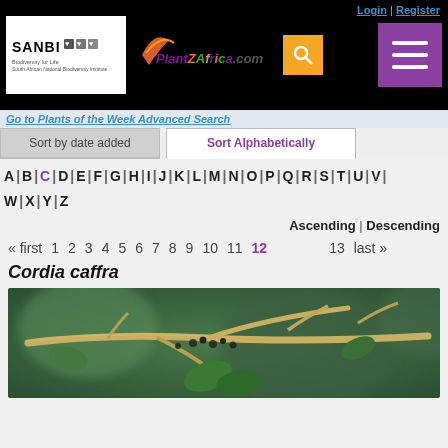Login | Register
[Figure (logo): SANBI and PlantZAfrica.com header with search and menu buttons]
Go to Plants of the Week Advanced Search
Sort by date added | Sort Alphabetically
A | B | C | D | E | F | G | H | I | J | K | L | M | N | O | P | Q | R | S | T | U | V | W | X | Y | Z
Ascending | Descending
« first  1  2  3  4  5  6  7  8  9  10  11  12  13  last »
Cordia caffra
[Figure (photo): Close-up photograph of Cordia caffra plant showing branches and leaves with blurred green background]